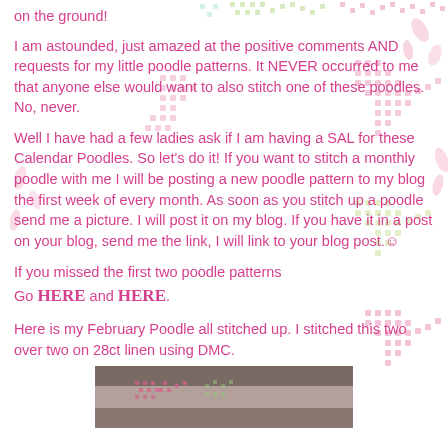on the ground!
I am astounded, just amazed at the positive comments AND requests for my little poodle patterns. It NEVER occurred to me that anyone else would want to also stitch one of these poodles. No, never.
Well I have had a few ladies ask if I am having a SAL for these Calendar Poodles. So let's do it! If you want to stitch a monthly poodle with me I will be posting a new poodle pattern to my blog the first week of every month. As soon as you stitch up a poodle send me a picture. I will post it on my blog. If you have it in a post on your blog, send me the link, I will link to your blog post.☺
If you missed the first two poodle patterns
Go HERE and HERE.
Here is my February Poodle all stitched up. I stitched this two over two on 28ct linen using DMC.
[Figure (photo): Photo of a cross-stitched February Poodle on 28ct linen using DMC thread, partially visible at bottom of page]